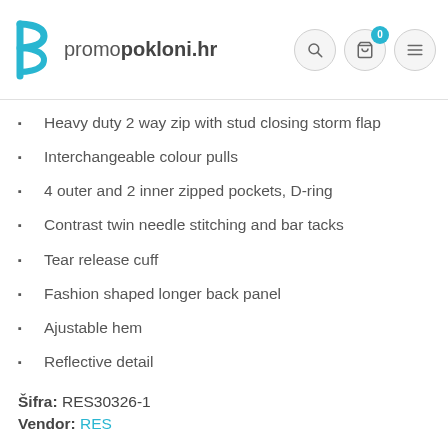promopokloni.hr
Heavy duty 2 way zip with stud closing storm flap
Interchangeable colour pulls
4 outer and 2 inner zipped pockets, D-ring
Contrast twin needle stitching and bar tacks
Tear release cuff
Fashion shaped longer back panel
Ajustable hem
Reflective detail
Šifra: RES30326-1
Vendor: RES
Veličina
XS  S  M  L